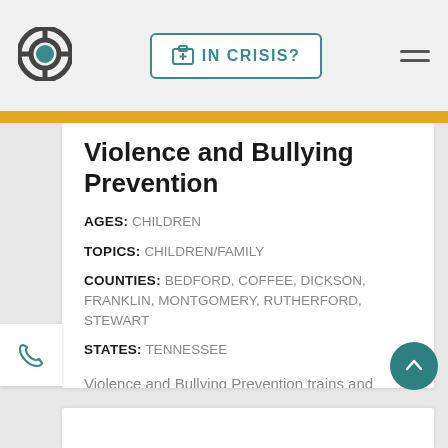[Figure (logo): Circular logo with teal center and dark gray ring]
[Figure (other): IN CRISIS? button with medical kit icon, teal border]
[Figure (other): Hamburger menu icon, three horizontal lines]
Violence and Bullying Prevention
AGES: CHILDREN
TOPICS: CHILDREN/FAMILY
COUNTIES: BEDFORD, COFFEE, DICKSON, FRANKLIN, MONTGOMERY, RUTHERFORD, STEWART
STATES: TENNESSEE
Violence and Bullying Prevention trains and partners with teachers to instruct students in the skills of empathy, impulse control, ...